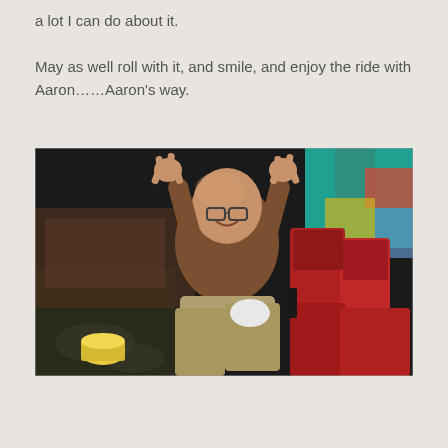a lot I can do about it.
May as well roll with it, and smile, and enjoy the ride with Aaron……Aaron's way.
[Figure (photo): A man sitting in a red theater/auditorium seat, smiling and making peace signs with both hands. He is wearing a brown turtleneck and khaki pants. There is a yellow popcorn cup on the floor to the left. The background shows other red seats and colorful wall decorations in teal and multi-colors.]